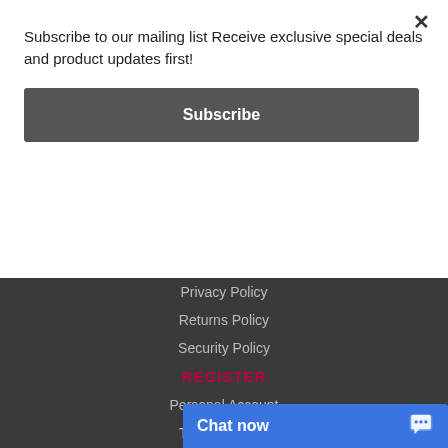Subscribe to our mailing list Receive exclusive special deals and product updates first!
Subscribe
Privacy Policy
Returns Policy
Security Policy
REGISTER
Personal Account
Trade Account
Zip - Pay
CONTACT
0280144286
sales@
Chat now